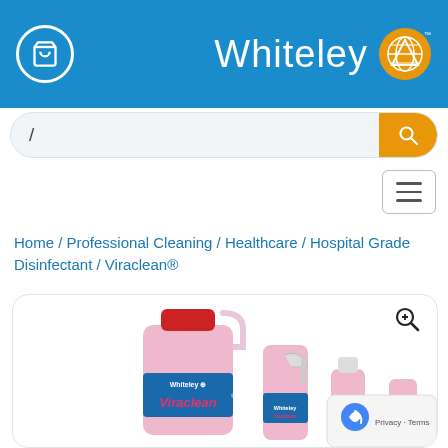Whiteley
/ (search bar)
Home / Professional Cleaning / Healthcare / Hospital Grade Disinfectant / Viraclean®
[Figure (photo): Whiteley Viraclean product photo showing a large pink 5L bottle with red cap, a spray bottle with pink liquid, and a smaller bottle — all showing the Viraclean brand label with Whiteley branding.]